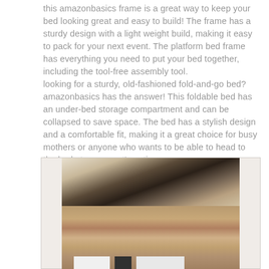this amazonbasics frame is a great way to keep your bed looking great and easy to build! The frame has a sturdy design with a light weight build, making it easy to pack for your next event. The platform bed frame has everything you need to put your bed together, including the tool-free assembly tool.
looking for a sturdy, old-fashioned fold-and-go bed? amazonbasics has the answer! This foldable bed has an under-bed storage compartment and can be collapsed to save space. The bed has a stylish design and a comfortable fit, making it a great choice for busy mothers or anyone who wants to be able to head to the bed at a moment's notice.
[Figure (photo): A photograph of what appears to be a bed frame or furniture box/packaging, showing brown cardboard and dark frame elements, with white and dark pieces visible at the bottom.]